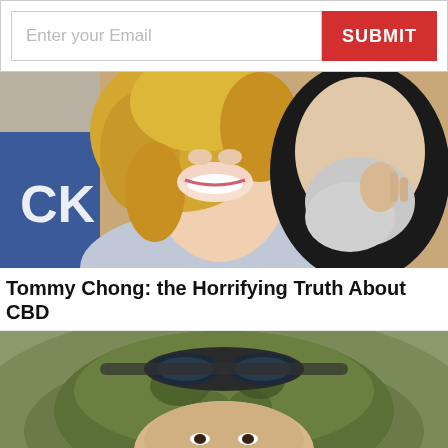[Figure (screenshot): Email subscription form with text input field 'Enter your Email' and a red SUBMIT button]
[Figure (photo): Close-up photo of a smiling woman with blonde curly hair and an older man with a grey beard, with a blue sign partially visible in background]
Tommy Chong: the Horrifying Truth About CBD
[Figure (photo): Close-up photo of a person wearing military/tactical green camouflage gear and goggles on their head, with a red X close button in bottom right corner]
[Figure (screenshot): Advertisement banner: Firestone Tire Offer - Virginia Tire & Auto of Ashburn, with Firestone logo and navigation arrow icon]